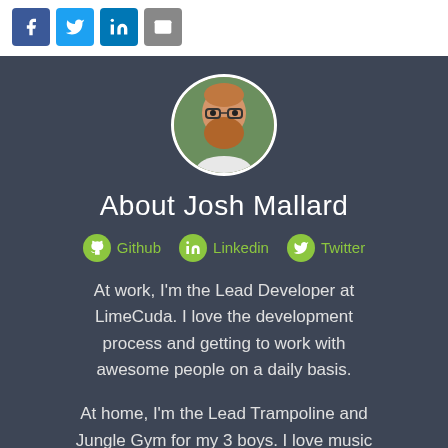[Figure (other): Social share buttons: Facebook (blue), Twitter (light blue), LinkedIn (blue), Email (grey)]
[Figure (photo): Circular profile photo of a bearded man wearing glasses]
About Josh Mallard
Github   Linkedin   Twitter
At work, I'm the Lead Developer at LimeCuda. I love the development process and getting to work with awesome people on a daily basis.
At home, I'm the Lead Trampoline and Jungle Gym for my 3 boys. I love music